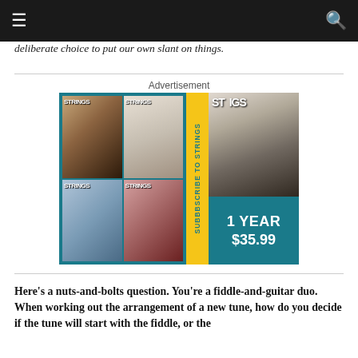deliberate choice to put our own slant on things.
Advertisement
[Figure (illustration): Strings magazine subscription advertisement showing four magazine covers on the left in a 2x2 grid, a vertical yellow strip in the middle reading 'SUBBBSCRIBE TO STRINGS', and on the right a black-and-white photo of Andrew Bird with guitar with teal panel below showing '1 YEAR $35.99']
Here's a nuts-and-bolts question. You're a fiddle-and-guitar duo. When working out the arrangement of a new tune, how do you decide if the tune will start with the fiddle, or the